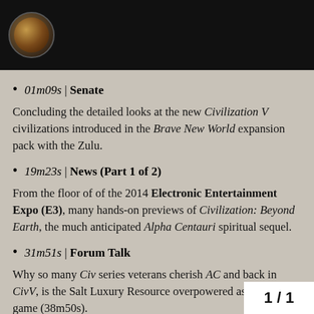[Avatar icon]
01m09s | Senate
Concluding the detailed looks at the new Civilization V civilizations introduced in the Brave New World expansion pack with the Zulu.
19m23s | News (Part 1 of 2)
From the floor of of the 2014 Electronic Entertainment Expo (E3), many hands-on previews of Civilization: Beyond Earth, the much anticipated Alpha Centauri spiritual sequel.
31m51s | Forum Talk
Why so many Civ series veterans cherish AC and back in CivV, is the Salt Luxury Resource overpowered as is in the game (38m50s).
49m26s | News (Part 2 of 2)
1/1